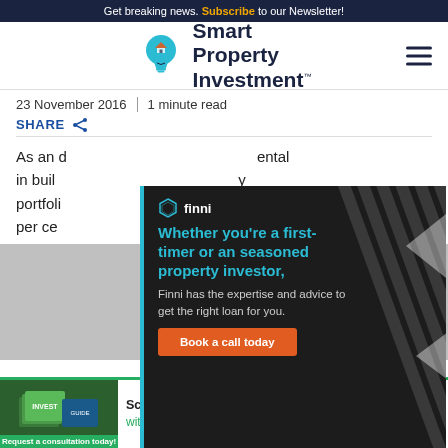Get breaking news. Subscribe to our Newsletter!
[Figure (logo): Smart Property Investment logo with light bulb icon and site name]
23 November 2016  |  1 minute read
SHARE
As an a...ental in buil...y portfoli...d 49 per ce...
[Figure (infographic): Finni advertisement: Whether you're a first-timer or an seasoned property investor, Finni has the expertise and advice to get the right loan for you. Book a call today.]
[Figure (photo): Gray image area showing property related photo]
[Figure (infographic): Investor Kit advertisement: Scaling a property portfolio with our buyers agency. Request a consultation today!]